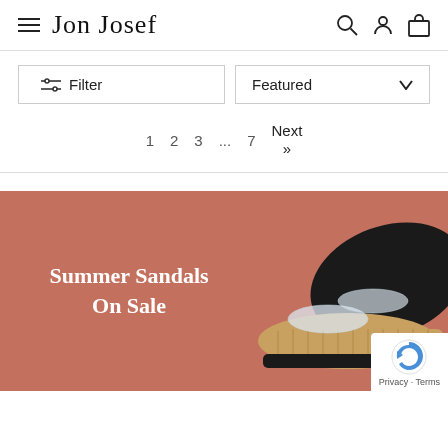Jon Josef — navigation header with hamburger menu, search, account, and cart icons
Filter
Featured
1  2  3  ...  7  Next »
[Figure (illustration): Summer Sandals On Sale promotional banner with terracotta/rust background showing cork platform sandals with clear straps]
Privacy · Terms